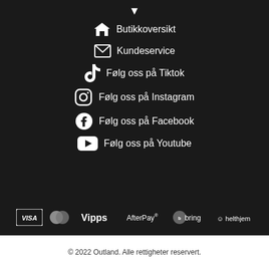Butikkoversikt
Kundeservice
Følg oss på Tiktok
Følg oss på Instagram
Følg oss på Facebook
Følg oss på Youtube
[Figure (logo): Payment and delivery logos: Visa, Mastercard, Vipps, AfterPay, Bring, Helthjem]
© 2022 Outland. Alle rettigheter reservert.